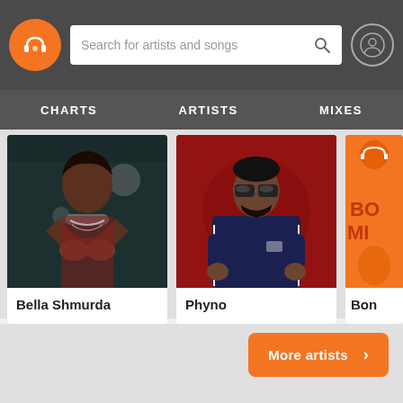[Figure (screenshot): Music streaming app header with orange headphones logo, search bar reading 'Search for artists and songs', and profile icon]
CHARTS   ARTISTS   MIXES
[Figure (photo): Artist card: Bella Shmurda - rapper posing with hands forming a heart, wearing jewelry, red background]
Bella Shmurda
[Figure (photo): Artist card: Phyno - rapper wearing sunglasses and dark blue tracksuit, red background]
Phyno
[Figure (photo): Partial artist/mix card showing orange background with 'BO MIX' text and headphone icon]
Bon
More artists  ›